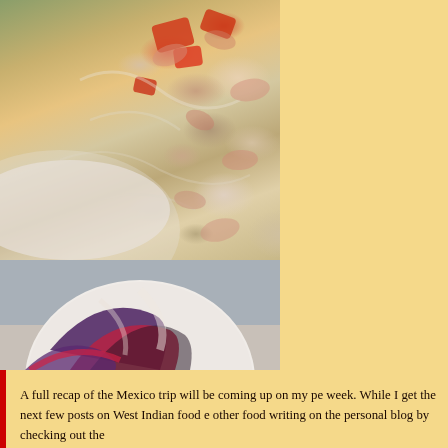[Figure (photo): Food photo showing shrimp ceviche or seafood salad with tomatoes on a white plate, viewed from above]
[Figure (photo): Colorful patterned ball or decorative object with red, purple, and cream swirling patterns]
A full recap of the Mexico trip will be coming up on my pe week. While I get the next few posts on West Indian food e other food writing on the personal blog by checking out the
And, if you really, truly cannot get enough of what I might